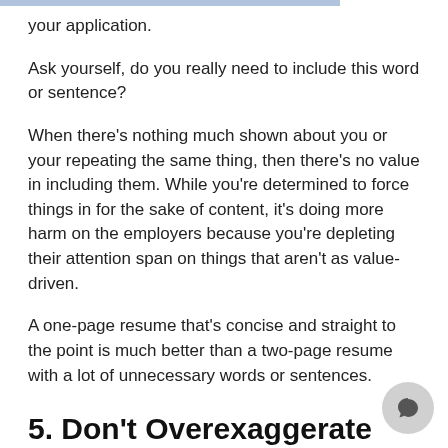your application.
Ask yourself, do you really need to include this word or sentence?
When there’s nothing much shown about you or your repeating the same thing, then there’s no value in including them. While you’re determined to force things in for the sake of content, it’s doing more harm on the employers because you’re depleting their attention span on things that aren’t as value-driven.
A one-page resume that’s concise and straight to the point is much better than a two-page resume with a lot of unnecessary words or sentences.
5. Don’t Overexaggerate What You’re Really Trying to Say